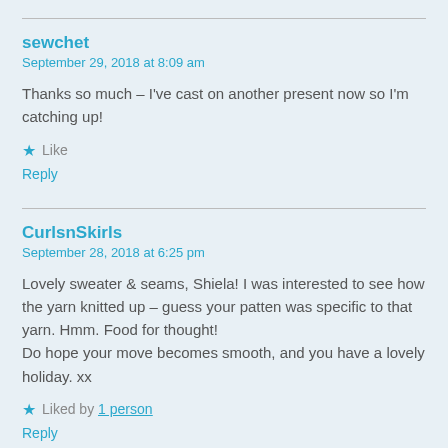sewchet
September 29, 2018 at 8:09 am
Thanks so much – I've cast on another present now so I'm catching up!
Like
Reply
CurlsnSkirls
September 28, 2018 at 6:25 pm
Lovely sweater & seams, Shiela! I was interested to see how the yarn knitted up – guess your patten was specific to that yarn. Hmm. Food for thought!
Do hope your move becomes smooth, and you have a lovely holiday. xx
Liked by 1 person
Reply